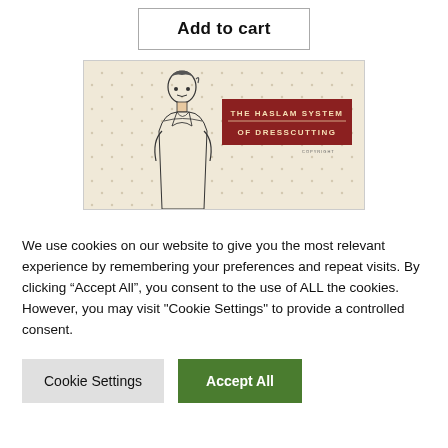Add to cart
[Figure (illustration): Cover of 'The Haslam System of Dresscutting' book showing a vintage illustration of a woman and red title banner on a cream dotted background with COPYRIGHT text.]
We use cookies on our website to give you the most relevant experience by remembering your preferences and repeat visits. By clicking “Accept All”, you consent to the use of ALL the cookies. However, you may visit "Cookie Settings" to provide a controlled consent.
Cookie Settings
Accept All